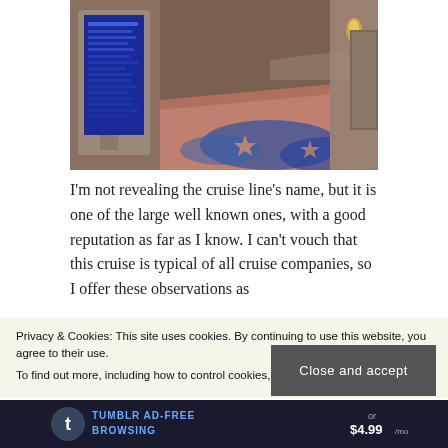[Figure (photo): Interior hallway of a cruise ship showing a blue electronic display screen/kiosk on the left and a carpeted corridor with decorative blue and orange patterned carpet stretching into the distance]
I'm not revealing the cruise line's name, but it is one of the large well known ones, with a good reputation as far as I know. I can't vouch that this cruise is typical of all cruise companies, so I offer these observations as
Privacy & Cookies: This site uses cookies. By continuing to use this website, you agree to their use.
To find out more, including how to control cookies, see here: Cookie Policy
Close and accept
[Figure (screenshot): Tumblr AD-FREE BROWSING advertisement bar with price or $4.99]